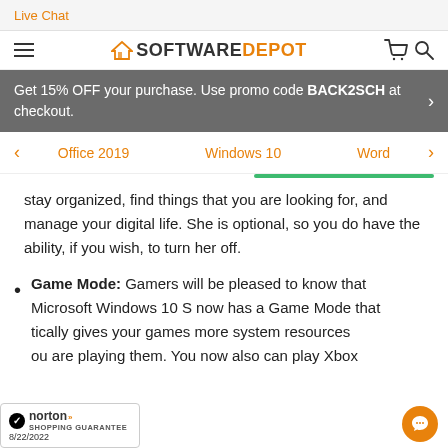Live Chat
[Figure (logo): SoftwareDepot logo with house icon, hamburger menu, cart and search icons]
Get 15% OFF your purchase. Use promo code BACK2SCH at checkout.
Office 2019   Windows 10   Word
stay organized, find things that you are looking for, and manage your digital life. She is optional, so you do have the ability, if you wish, to turn her off.
Game Mode: Gamers will be pleased to know that Microsoft Windows 10 S now has a Game Mode that tically gives your games more system resources ou are playing them. You now also can play Xbox
[Figure (logo): Norton Shopping Guarantee badge with date 8/22/2022]
[Figure (other): Orange chat bubble button in bottom right corner]